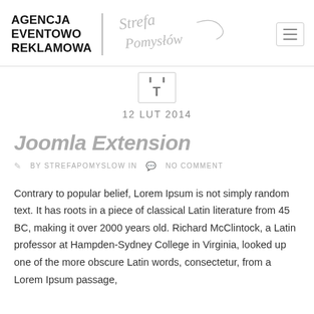AGENCJA EVENTOWO REKLAMOWA | Strefa Pomysłów
12 LUT 2014
Joomla Extension
BY STREFAPOMYSLOW IN   NO COMMENT
Contrary to popular belief, Lorem Ipsum is not simply random text. It has roots in a piece of classical Latin literature from 45 BC, making it over 2000 years old. Richard McClintock, a Latin professor at Hampden-Sydney College in Virginia, looked up one of the more obscure Latin words, consectetur, from a Lorem Ipsum passage,